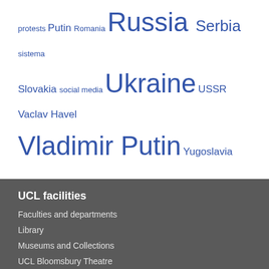protests Putin Romania Russia Serbia sistema Slovakia social media Ukraine USSR Vaclav Havel Vladimir Putin Yugoslavia
UCL facilities
Faculties and departments
Library
Museums and Collections
UCL Bloomsbury Theatre
UCL locations
Maps and buildings
UCL and London